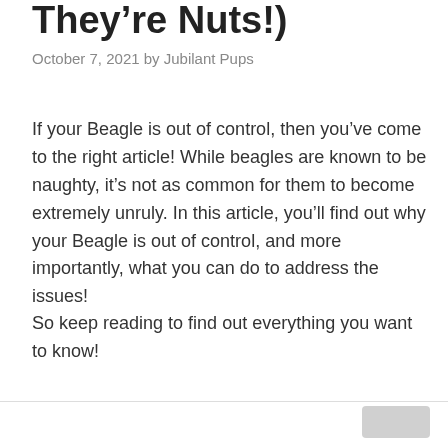They’re Nuts!)
October 7, 2021 by Jubilant Pups
If your Beagle is out of control, then you’ve come to the right article! While beagles are known to be naughty, it’s not as common for them to become extremely unruly. In this article, you’ll find out why your Beagle is out of control, and more importantly, what you can do to address the issues!
So keep reading to find out everything you want to know!